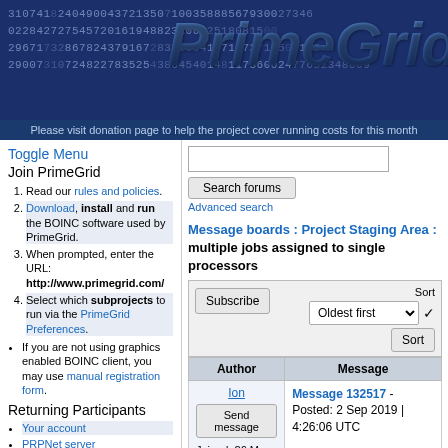[Figure (screenshot): PrimeGrid website banner with large number strings in background and 'PrimeGrid' logo text in blue]
Please visit donation page to help the project cover running costs for this month
Toggle Menu
Join PrimeGrid
1. Read our rules and policies.
2. Download, install and run the BOINC software used by PrimeGrid.
3. When prompted, enter the URL: http://www.primegrid.com/
4. Select which subprojects to run via the PrimeGrid Preferences.
If you are not using graphics enabled BOINC client, you may use manual registration form.
Returning Participants
Your account
PRPNet server
Manual Sieving
Create or Join a Team
Download BOINC
Applications
Make a donation
Community
Participant Profiles
Message boards : Project Staging Area : multiple jobs assigned to single processors
| Author | Message |
| --- | --- |
| Ion
Send message
Joined: 26 May 19
Posts: 6
ID: 1130852
Credit: 32,168,817 | Message 132517 - Posted: 2 Sep 2019 | 4:26:06 UTC |